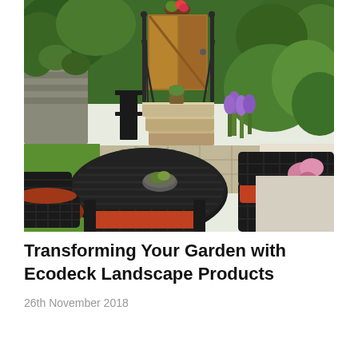[Figure (photo): Outdoor garden patio scene with dark wicker chairs with orange cushions around a round dark metal table with a small plant centerpiece. Behind the table are stone steps leading to a wooden gate, flanked by lush greenery, flowering plants, and shrubs.]
Transforming Your Garden with Ecodeck Landscape Products
26th November 2018